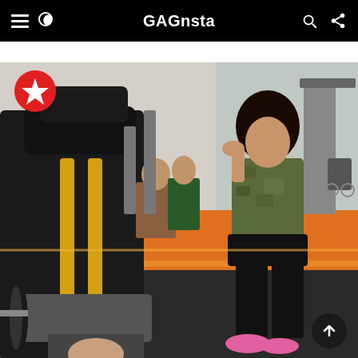GAGnsta
[Figure (photo): A person lying on a leg press machine at a gym with Chicken feet/legs visible on the press platform, wearing white shoes. A woman in a green camouflage shirt and black leggings stands nearby. The gym has orange flooring, mirrors, and various weight machines in the background.]